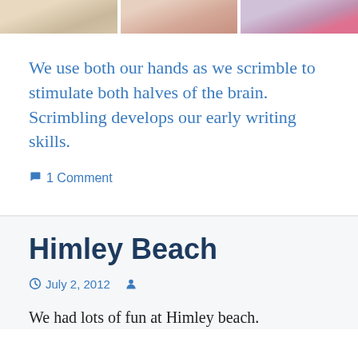[Figure (photo): Three photos partially visible at top of page: a light-colored fluffy animal on left, a person's hand or face in center, and a person in red on right.]
We use both our hands as we scrimble to stimulate both halves of the brain. Scrimbling develops our early writing skills.
1 Comment
Himley Beach
July 2, 2012
We had lots of fun at Himley beach.